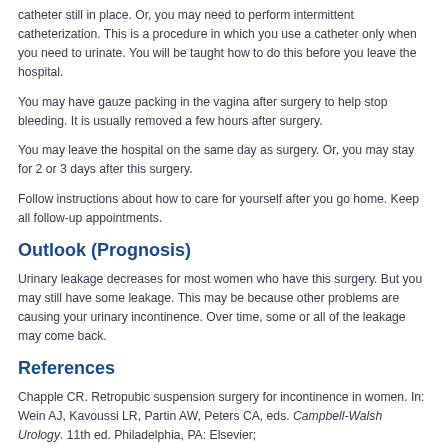catheter still in place. Or, you may need to perform intermittent catheterization. This is a procedure in which you use a catheter only when you need to urinate. You will be taught how to do this before you leave the hospital.
You may have gauze packing in the vagina after surgery to help stop bleeding. It is usually removed a few hours after surgery.
You may leave the hospital on the same day as surgery. Or, you may stay for 2 or 3 days after this surgery.
Follow instructions about how to care for yourself after you go home. Keep all follow-up appointments.
Outlook (Prognosis)
Urinary leakage decreases for most women who have this surgery. But you may still have some leakage. This may be because other problems are causing your urinary incontinence. Over time, some or all of the leakage may come back.
References
Chapple CR. Retropubic suspension surgery for incontinence in women. In: Wein AJ, Kavoussi LR, Partin AW, Peters CA, eds. Campbell-Walsh Urology. 11th ed. Philadelphia, PA: Elsevier;